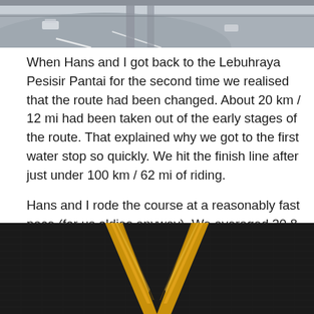[Figure (photo): Aerial or elevated view of a road interchange or highway, showing grey pavement, lane markings, and a vehicle in the distance. Columns/pillars visible.]
When Hans and I got back to the Lebuhraya Pesisir Pantai for the second time we realised that the route had been changed.  About 20 km / 12 mi had been taken out of the early stages of the route.  That explained why we got to the first water stop so quickly.  We hit the finish line after just under 100 km / 62 mi of riding.
Hans and I rode the course at a reasonably fast pace (for us oldies anyway).  We averaged 30.8 kph / 19.2 mph for the ride.  So we didn't complain that the route had been shortened.  Our relief was short-lived though.
[Figure (photo): Close-up of a gold/yellow ribbon or medal lanyard against a dark textured background (appears to be a cycling event finisher medal).]